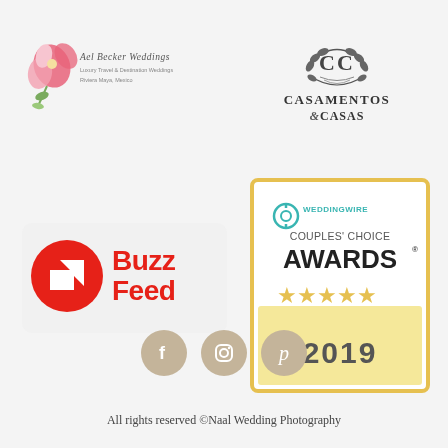[Figure (logo): Ael Becker Weddings logo with pink flowers and text: Luxury Travel & Destination Weddings, Riviera Maya, Mexico]
[Figure (logo): Casamentos e Casas logo with CC monogram in a laurel wreath and stylized text]
[Figure (logo): BuzzFeed logo with red circle containing white upward arrow and red BuzzFeed text]
[Figure (logo): WeddingWire Couples' Choice Awards 2019 badge with gold border, five gold stars, and teal WeddingWire logo]
[Figure (logo): Social media icons: Facebook, Instagram, Pinterest in tan/beige circles]
All rights reserved ©Naal Wedding Photography